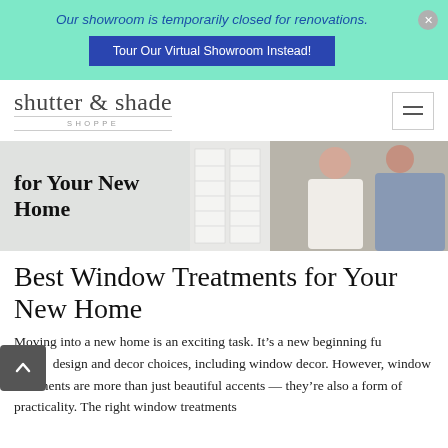Our showroom is temporarily closed for renovations.
Tour Our Virtual Showroom Instead!
shutter & shade SHOPPE
[Figure (photo): Hero banner image showing text 'for Your New Home' on the left and a couple standing near a window with shutters on the right]
Best Window Treatments for Your New Home
Moving into a new home is an exciting task. It’s a new beginning fu…esign and decor choices, including window decor. However, window treatments are more than just beautiful accents — they’re also a form of practicality. The right window treatments…